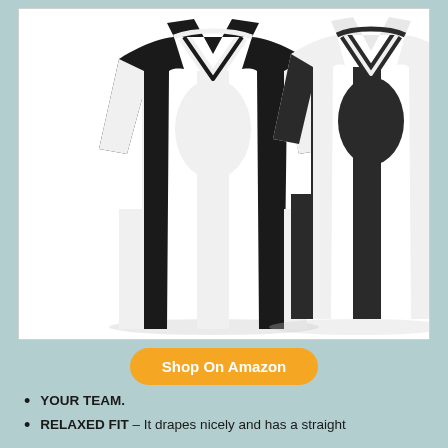[Figure (photo): Two basketball jerseys shown side by side — one black with white panels and one white with black panels, both sleeveless V-neck reversible jerseys.]
Shop On Amazon
YOUR TEAM.
RELAXED FIT – It drapes nicely and has a straight